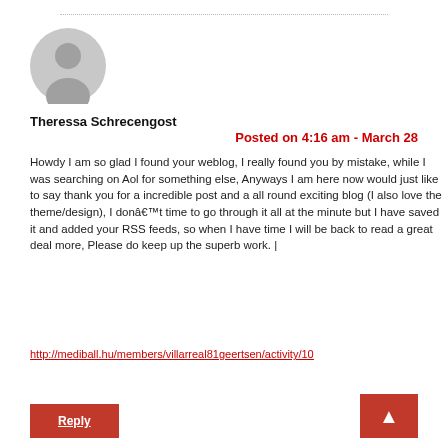[Figure (illustration): Gray default user avatar circle with person silhouette]
Theressa Schrecengost
Posted on 4:16 am - March 28
Howdy I am so glad I found your weblog, I really found you by mistake, while I was searching on Aol for something else, Anyways I am here now would just like to say thank you for a incredible post and a all round exciting blog (I also love the theme/design), I donâ€™t time to go through it all at the minute but I have saved it and added your RSS feeds, so when I have time I will be back to read a great deal more, Please do keep up the superb work. |
http://mediball.hu/members/villarreal81geertsen/activity/10
Reply
▲